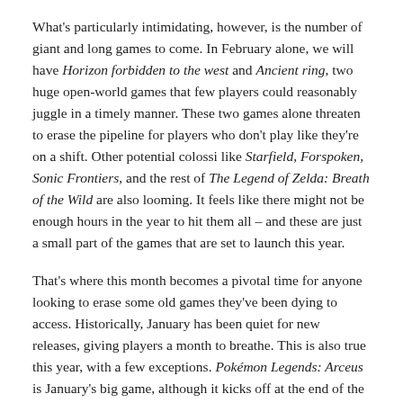What's particularly intimidating, however, is the number of giant and long games to come. In February alone, we will have Horizon forbidden to the west and Ancient ring, two huge open-world games that few players could reasonably juggle in a timely manner. These two games alone threaten to erase the pipeline for players who don't play like they're on a shift. Other potential colossi like Starfield, Forspoken, Sonic Frontiers, and the rest of The Legend of Zelda: Breath of the Wild are also looming. It feels like there might not be enough hours in the year to hit them all – and these are just a small part of the games that are set to launch this year.
That's where this month becomes a pivotal time for anyone looking to erase some old games they've been dying to access. Historically, January has been quiet for new releases, giving players a month to breathe. This is also true this year, with a few exceptions. Pokémon Legends: Arceus is January's big game, although it kicks off at the end of the month. Rainbow Six Extraction is the other major release this month, though its co-op gameplay likely has some niche appeal.
Other than that, January will mainly bring already released gaming...